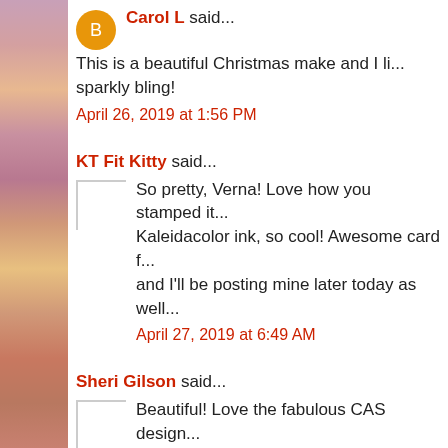Carol L said...
This is a beautiful Christmas make and I li... sparkly bling!
April 26, 2019 at 1:56 PM
KT Fit Kitty said...
So pretty, Verna! Love how you stamped it... Kaleidacolor ink, so cool! Awesome card f... and I'll be posting mine later today as well...
April 27, 2019 at 6:49 AM
Sheri Gilson said...
Beautiful! Love the fabulous CAS design... learn to make one layer cards! Great job!